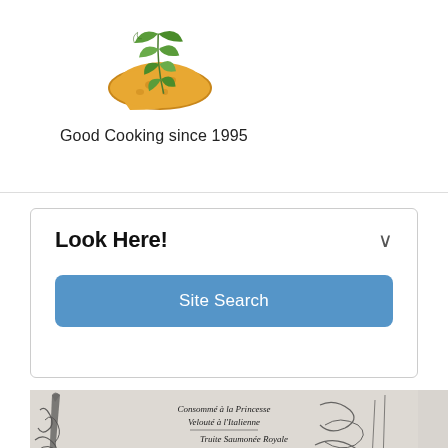[Figure (logo): Bread slice with green herb leaf on top, serving as logo for Good Cooking since 1995]
Good Cooking since 1995
Look Here!
Site Search
[Figure (photo): Vintage French menu document showing handwritten text with items including Velouté à l'Italienne, Truite Saumonée Royale, Paupiettes de Sole, Selle de Pré-Salé aux Laitues, Petits Pois Bonne Femme]